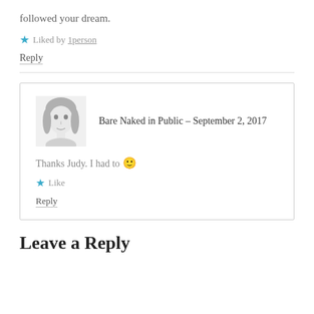followed your dream.
Liked by 1person
Reply
Bare Naked in Public – September 2, 2017
Thanks Judy. I had to 🙂
Like
Reply
Leave a Reply